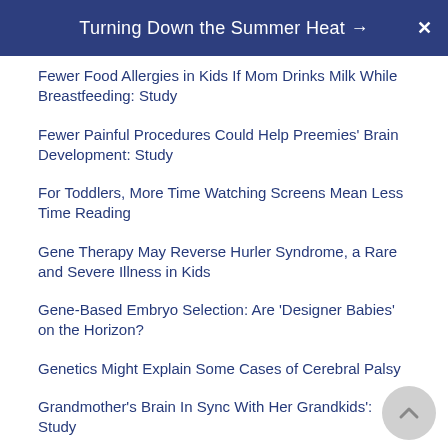Turning Down the Summer Heat →
Fewer Food Allergies in Kids If Mom Drinks Milk While Breastfeeding: Study
Fewer Painful Procedures Could Help Preemies' Brain Development: Study
For Toddlers, More Time Watching Screens Mean Less Time Reading
Gene Therapy May Reverse Hurler Syndrome, a Rare and Severe Illness in Kids
Gene-Based Embryo Selection: Are 'Designer Babies' on the Horizon?
Genetics Might Explain Some Cases of Cerebral Palsy
Grandmother's Brain In Sync With Her Grandkids': Study
High Curiosity in Infancy Carries Through to Toddler Years